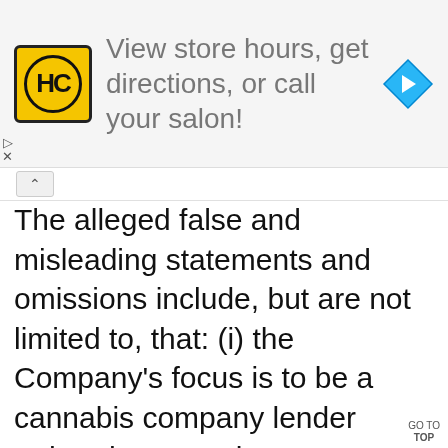[Figure (screenshot): Advertisement banner for HC salon showing logo, text 'View store hours, get directions, or call your salon!' and a blue navigation diamond icon]
The alleged false and misleading statements and omissions include, but are not limited to, that: (i) the Company's focus is to be a cannabis company lender rather than a real estate investment trust (REIT); (ii) the true values of the Company's properties are significantly lower than represented; (iii) the Company's top customers experienced significant issues; (iv) as a result, its top customers may not be able to continue making payments